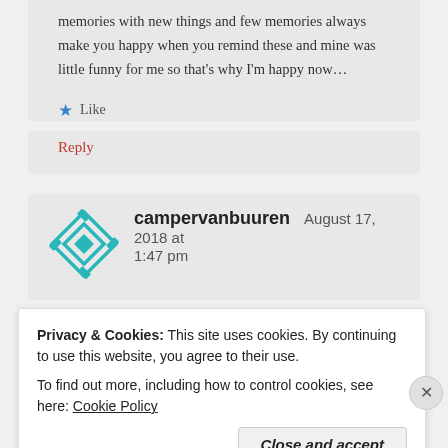memories with new things and few memories always make you happy when you remind these and mine was little funny for me so that's why I'm happy now…
★ Like
Reply
campervanbuuren   August 17, 2018 at 1:47 pm
Privacy & Cookies: This site uses cookies. By continuing to use this website, you agree to their use.
To find out more, including how to control cookies, see here: Cookie Policy
Close and accept